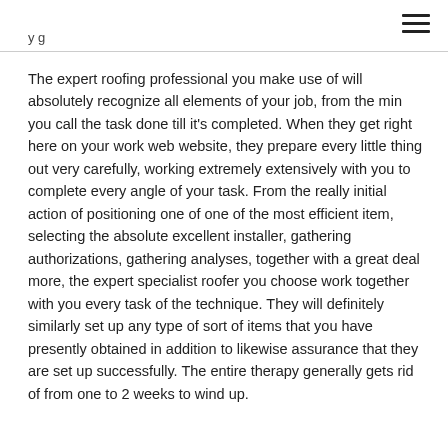y g
The expert roofing professional you make use of will absolutely recognize all elements of your job, from the min you call the task done till it's completed. When they get right here on your work web website, they prepare every little thing out very carefully, working extremely extensively with you to complete every angle of your task. From the really initial action of positioning one of one of the most efficient item, selecting the absolute excellent installer, gathering authorizations, gathering analyses, together with a great deal more, the expert specialist roofer you choose work together with you every task of the technique. They will definitely similarly set up any type of sort of items that you have presently obtained in addition to likewise assurance that they are set up successfully. The entire therapy generally gets rid of from one to 2 weeks to wind up.